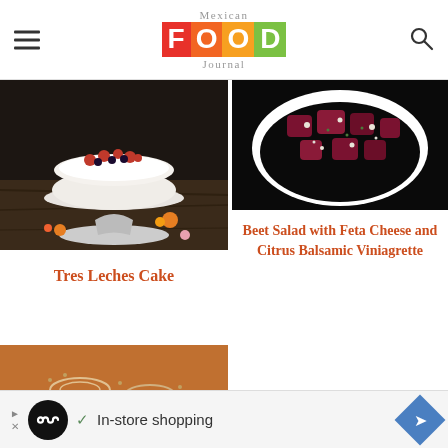Mexican Food Journal
[Figure (photo): Tres Leches Cake on a marble pedestal stand with whipped cream frosting topped with fresh berries (strawberries and blueberries), surrounded by orange flowers on a dark wooden surface]
[Figure (photo): Beet salad with feta cheese in a white bowl on a black background, showing dark red beet chunks with crumbled white cheese and green herbs]
Beet Salad with Feta Cheese and Citrus Balsamic Viniagrette
Tres Leches Cake
[Figure (photo): Orange-toned dish, partially visible, appearing to be a Mexican soup or stew with onion rings and garnishes]
In-store shopping